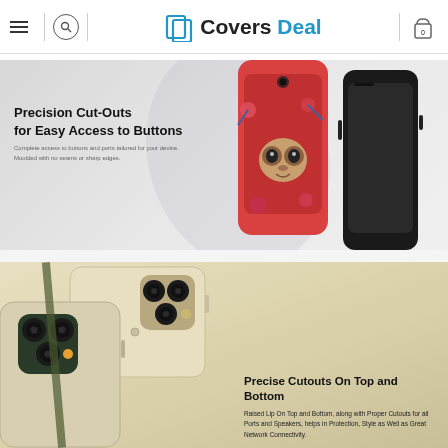Covers Deal — navigation header with hamburger menu, search icon, logo, and cart
[Figure (photo): Product banner showing iPhone case with colorful sloth illustration and a plain black smartphone, on a grey background. Text overlay: 'Precision Cut-Outs for Easy Access to Buttons. Complete access to buttons and ports tailored for your device. Moulded with no seams or sharp edges.']
[Figure (photo): Product banner showing two iPhone 11 Pro cases in tan/beige color with triple camera cutouts, on a beige background. Text overlay: 'Precise Cutouts On Top and Bottom. Raised Lip On Top and Bottom, along with Proper Cutouts for all Ports and Speakers, helps in Protection, Style as Well as Great Network Connectivity.']